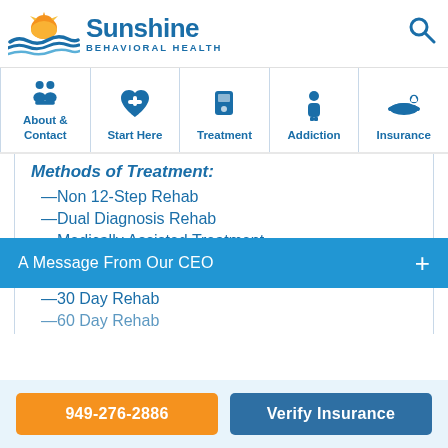[Figure (logo): Sunshine Behavioral Health logo with sun and waves graphic, blue brand name and subtitle]
[Figure (infographic): Navigation bar with five icons: About & Contact (group of people), Start Here (heart with plus), Treatment (glass/beaker), Addiction (person), Insurance (hand with medical cross)]
Methods of Treatment:
—Non 12-Step Rehab
—Dual Diagnosis Rehab
—Medically Assisted Treatment
Length of Treatment:
—30 Day Rehab
—60 Day Rehab
A Message From Our CEO
949-276-2886
Verify Insurance